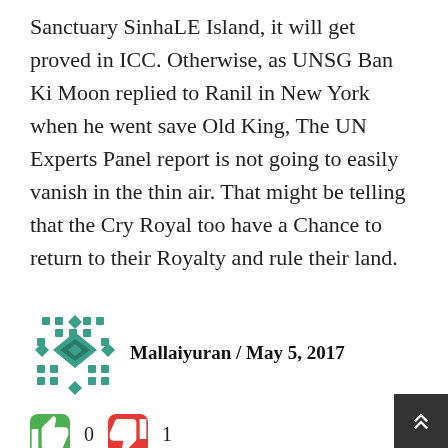Sanctuary SinhaLE Island, it will get proved in ICC. Otherwise, as UNSG Ban Ki Moon replied to Ranil in New York when he went save Old King, The UN Experts Panel report is not going to easily vanish in the thin air. That might be telling that the Cry Royal too have a Chance to return to their Royalty and rule their land.
[Figure (illustration): Teal/green geometric pattern avatar icon, resembling a decorative diamond lattice design]
Mallaiyuran / May 5, 2017
👍 0 👎 1
Old King's security reduction has been a subject to discussion in the Parliament